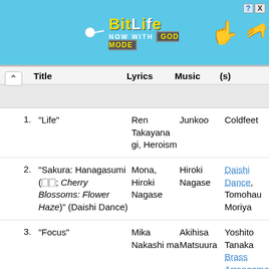[Figure (illustration): BitLife advertisement banner: 'NOW WITH GOD MODE' on blue background with cartoon hands and sperm character, close/help buttons top right.]
| # | Title | Lyrics | Music | (s) |
| --- | --- | --- | --- | --- |
| 1. | "Life" | Ren Takayanagi, Heroism | Junkoo | Coldfeet |
| 2. | "Sakura: Hanagasumi (🀆🀆; Cherry Blossoms: Flower Haze)" (Daishi Dance) | Mona, Hiroki Nagase | Hiroki Nagase | Daishi Dance, Tomoharu Moriya |
| 3. | "Focus" | Mika Nakashima | Akihisa Matsuura | Yoshito Tanaka Brass Arrangement: |